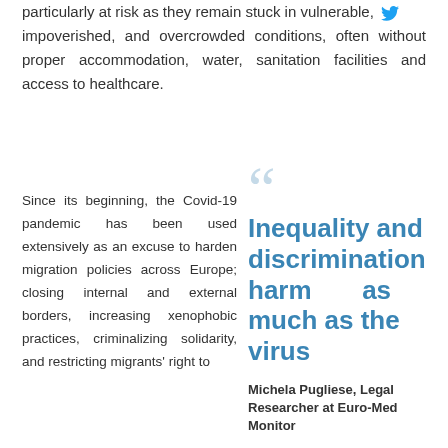particularly at risk as they remain stuck in vulnerable, impoverished, and overcrowded conditions, often without proper accommodation, water, sanitation facilities and access to healthcare.
Since its beginning, the Covid-19 pandemic has been used extensively as an excuse to harden migration policies across Europe; closing internal and external borders, increasing xenophobic practices, criminalizing solidarity, and restricting migrants' right to
Inequality and discrimination harm as much as the virus
Michela Pugliese, Legal Researcher at Euro-Med Monitor